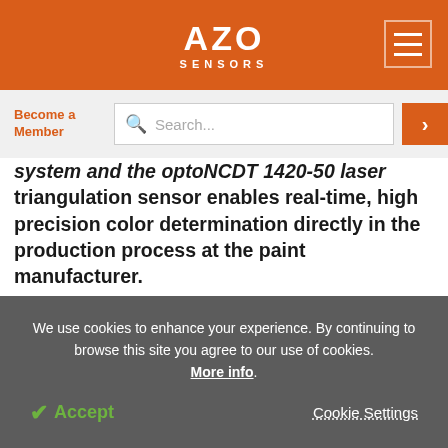AZO SENSORS
Become a Member
system and the optoNCDT 1420-50 laser triangulation sensor enables real-time, high precision color determination directly in the production process at the paint manufacturer.
[Figure (photo): Partial view of a paint can or container, white/grey background, AZO logo visible]
We use cookies to enhance your experience. By continuing to browse this site you agree to our use of cookies. More info.
✓ Accept
Cookie Settings